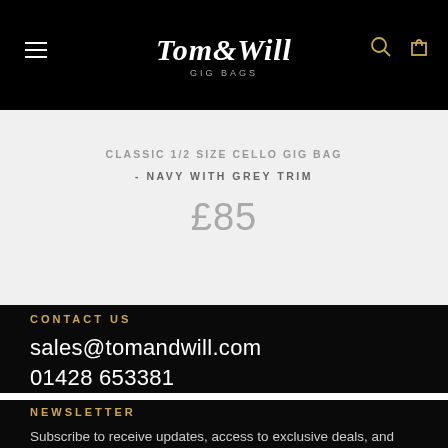Tom & Will Gig Bags
CLASSIC 1/2 SIZE CELLO GIG BAG - NAVY WITH GREY TRIM
£85
CONTACT US
sales@tomandwill.com
01428 653381
NEWSLETTER
Subscribe to receive updates, access to exclusive deals, and